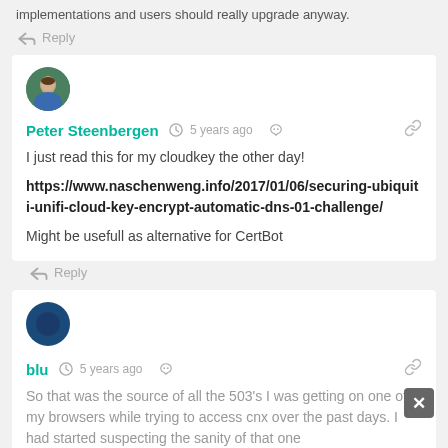implementations and users should really upgrade anyway.
Reply
[Figure (photo): Avatar of Peter Steenbergen, person in blue jacket outdoors]
Peter Steenbergen  5 years ago
I just read this for my cloudkey the other day!
https://www.naschenweng.info/2017/01/06/securing-ubiquiti-unifi-cloud-key-encrypt-automatic-dns-01-challenge/
Might be usefull as alternative for CertBot
Reply
[Figure (photo): Avatar of blu, dark blue circle avatar]
blu  5 years ago
So that was the source of all the 503's I was getting on one of my browsers while trying to access cnx over the past days. I had started suspecting the sanity of that one